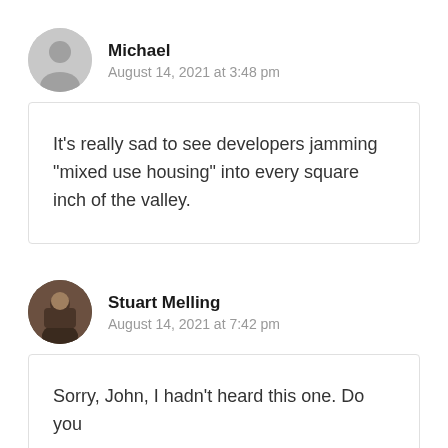Michael
August 14, 2021 at 3:48 pm
It's really sad to see developers jamming “mixed use housing” into every square inch of the valley.
Stuart Melling
August 14, 2021 at 7:42 pm
Sorry, John, I hadn't heard this one. Do you